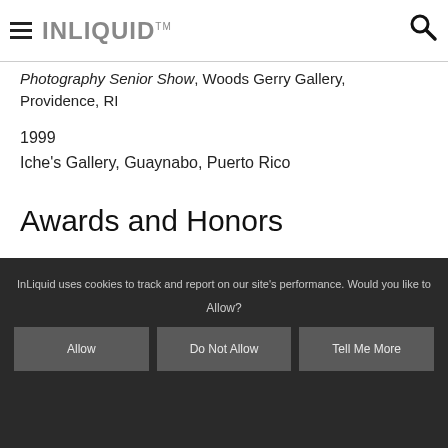INLIQUID™
Photography Senior Show, Woods Gerry Gallery, Providence, RI
1999
Iche's Gallery, Guaynabo, Puerto Rico
Awards and Honors
InLiquid uses cookies to track and report on our site's performance. Would you like to Allow?
Allow | Do Not Allow | Tell Me More